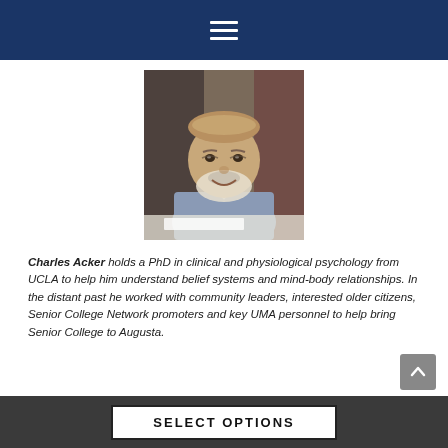Navigation menu
[Figure (photo): Elderly man with white beard, wearing a light blue button-up shirt, smiling, seated at a table with papers, photographed indoors]
Charles Acker holds a PhD in clinical and physiological psychology from UCLA to help him understand belief systems and mind-body relationships. In the distant past he worked with community leaders, interested older citizens, Senior College Network promoters and key UMA personnel to help bring Senior College to Augusta.
SELECT OPTIONS